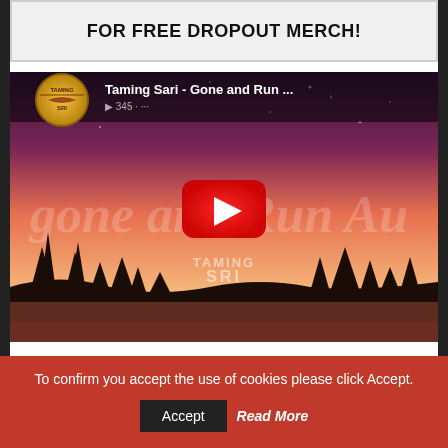FOR FREE DROPOUT MERCH!
[Figure (screenshot): YouTube video thumbnail for 'Taming Sari - Gone and Run ...' showing a scenic sunset/dusk landscape with silhouetted trees, a pink-orange gradient sky, starry overlay text reading 'gone and Run Au', a YouTube play button (red circle with white triangle), and the Taming Sari logo in the top left corner with 'TAMING SARI' watermark in the center.]
COMMENTS
To confirm you accept the use of cookies please click Accept.
Accept
Read More